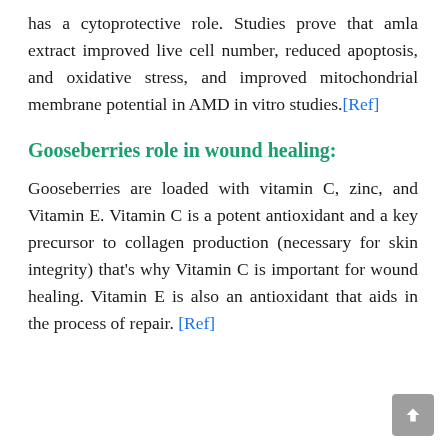has a cytoprotective role. Studies prove that amla extract improved live cell number, reduced apoptosis, and oxidative stress, and improved mitochondrial membrane potential in AMD in vitro studies.[Ref]
Gooseberries role in wound healing:
Gooseberries are loaded with vitamin C, zinc, and Vitamin E. Vitamin C is a potent antioxidant and a key precursor to collagen production (necessary for skin integrity) that's why Vitamin C is important for wound healing. Vitamin E is also an antioxidant that aids in the process of repair. [Ref]